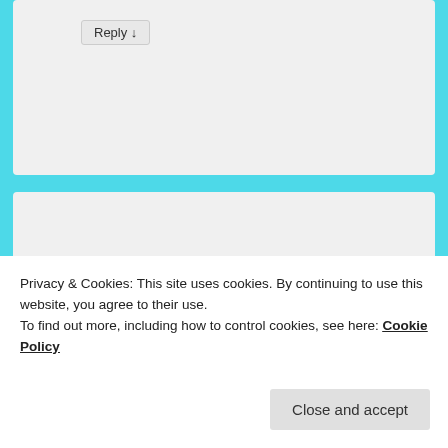Reply ↓
[Figure (illustration): Green diamond/lattice pattern avatar for user Christina]
Christina on May 8, 2022 at 10:59 am said:
The names ending with -tytär are Finnish patronymics, tytär means daughter. Laaksonen and Lihamäki are Finnish too.
Privacy & Cookies: This site uses cookies. By continuing to use this website, you agree to their use.
To find out more, including how to control cookies, see here: Cookie Policy
Close and accept